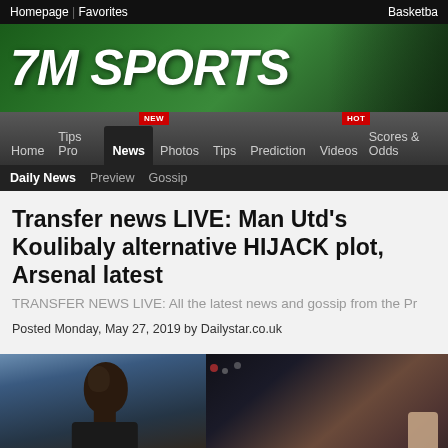Homepage | Favorites | Basketball
[Figure (logo): 7M SPORTS logo on green stadium background banner]
Home | Tips Pro | News | Photos | Tips | Prediction | Videos | Scores & Odds
Daily News | Preview | Gossip
Transfer news LIVE: Man Utd's Koulibaly alternative HIJACK plot, Arsenal latest
TRANSFER NEWS LIVE: All the latest news and gossip from the Premier League and beyond
Posted Monday, May 27, 2019 by Dailystar.co.uk
[Figure (photo): Photo of footballer (Koulibaly) in dark jersey looking up, blue/dark background. Second partial photo on right showing crowd/stadium.]